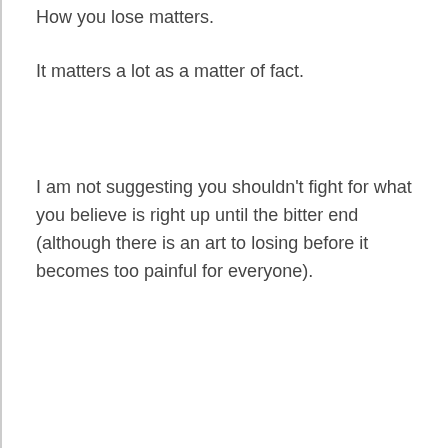How you lose matters.
It matters a lot as a matter of fact.
I am not suggesting you shouldn't fight for what you believe is right up until the bitter end (although there is an art to losing before it becomes too painful for everyone).